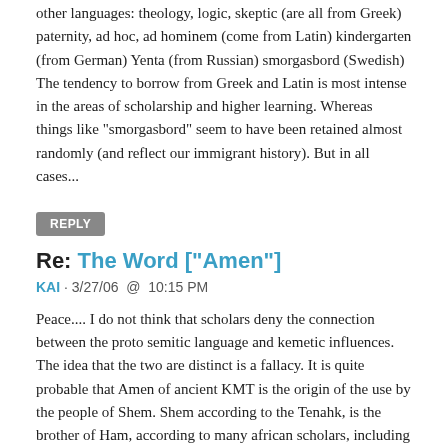other languages: theology, logic, skeptic (are all from Greek) paternity, ad hoc, ad hominem (come from Latin) kindergarten (from German) Yenta (from Russian) smorgasbord (Swedish) The tendency to borrow from Greek and Latin is most intense in the areas of scholarship and higher learning. Whereas things like "smorgasbord" seem to have been retained almost randomly (and reflect our immigrant history). But in all cases...
REPLY
Re: The Word ["Amen"]
KAI · 3/27/06  @  10:15 PM
Peace.... I do not think that scholars deny the connection between the proto semitic language and kemetic influences. The idea that the two are distinct is a fallacy. It is quite probable that Amen of ancient KMT is the origin of the use by the people of Shem. Shem according to the Tenahk, is the brother of Ham, according to many african scholars, including the illustrious Cheihk Anta Diop, Ham is derived from Kham, which is within the original name Khamit or KMT. If this is correct the...
REPLY
Re: Black Think Tanks, Seeking New Members
VITO · 3/28/06  @  5:48 PM